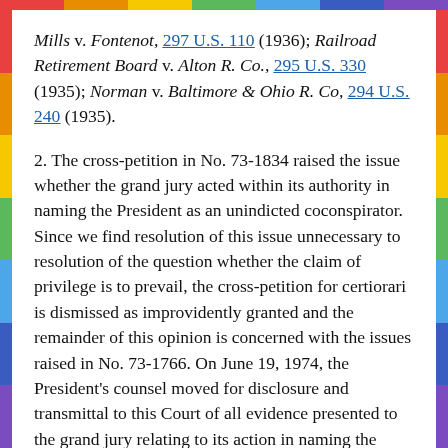Mills v. Fontenot, 297 U.S. 110 (1936); Railroad Retirement Board v. Alton R. Co., 295 U.S. 330 (1935); Norman v. Baltimore & Ohio R. Co, 294 U.S. 240 (1935).
2. The cross-petition in No. 73-1834 raised the issue whether the grand jury acted within its authority in naming the President as an unindicted coconspirator. Since we find resolution of this issue unnecessary to resolution of the question whether the claim of privilege is to prevail, the cross-petition for certiorari is dismissed as improvidently granted and the remainder of this opinion is concerned with the issues raised in No. 73-1766. On June 19, 1974, the President's counsel moved for disclosure and transmittal to this Court of all evidence presented to the grand jury relating to its action in naming the President as an unindicted coconspirator. Action on this motion was deferred pending oral argument of the case and is now denied.